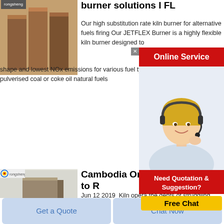[Figure (photo): Brown brick/block products stacked - article thumbnail image with logo badge top left]
burner solutions I FL
Our high substitution rate kiln burner for alternative fuels firing Our JETFLEX Burner is a highly flexible kiln burner designed to shape and lowest NOx emissions for various fuel types fires rotary kilns with pulverised coal or coke oil natural fuels
[Figure (photo): Online Service advertisement overlay with red banner and customer service agent photo]
[Figure (photo): Need Quotation & Suggestion? Free Chat advertisement overlay]
[Figure (photo): Grey/brown flat brick product thumbnail with logo badge]
Cambodia Order Inspections to R
Jun 12 2019  Kiln opera the debts of struggling with their families to wo conditions getting paid by the brick said the report titled Blood Bricks When the borrower dies or become unfit for work their debt is forced upon their children some of whom never leave it added
[Figure (other): Chat button partially visible at bottom]
Get a Quote
Chat Now